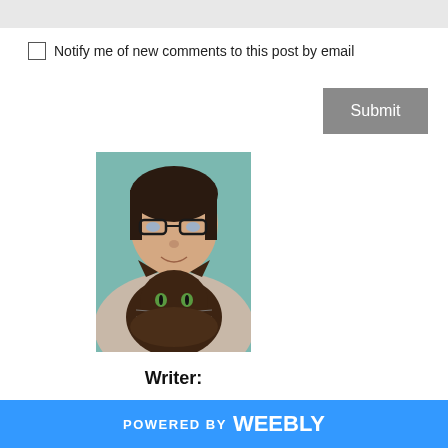Notify me of new comments to this post by email
Submit
[Figure (photo): Person wearing glasses holding a large dark fluffy cat, both looking at camera]
Writer:
I originally from British Columbia...
POWERED BY weebly